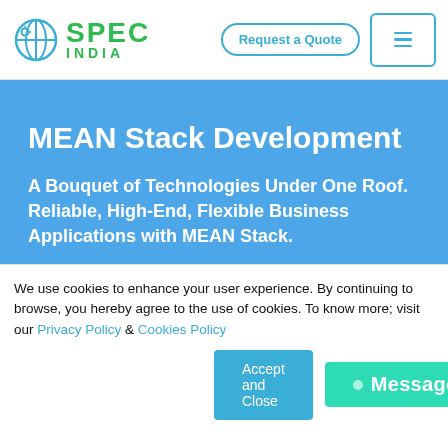[Figure (logo): SPEC India logo with globe icon and green text]
Request a Quote
MEAN Stack Development
A Bouquet of Technologies Under One Roof. Reliable, High-End, Flexible Business Applications with MEAN Stack.
Service Highlights
We use cookies to enhance your user experience. By continuing to browse, you hereby agree to the use of cookies. To know more; visit our Privacy Policy & Cookies Policy
Accept and Close
Message